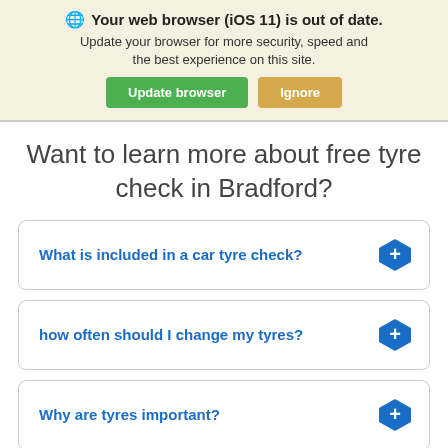🌐 Your web browser (iOS 11) is out of date. Update your browser for more security, speed and the best experience on this site.
Update browser | Ignore
Want to learn more about free tyre check in Bradford?
What is included in a car tyre check?
how often should I change my tyres?
Why are tyres important?
Can I drive with a puncture?